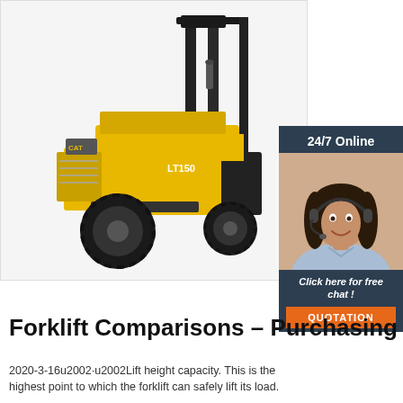[Figure (photo): Yellow forklift truck (model LT150) on white background, with black mast and tires]
[Figure (infographic): 24/7 Online chat widget with a woman wearing a headset, dark blue background, orange QUOTATION button. Text: '24/7 Online', 'Click here for free chat!', 'QUOTATION']
Forklift Comparisons – Purchasing
2020-3-16u2002·u2002Lift height capacity. This is the highest point to which the forklift can safely lift its load.